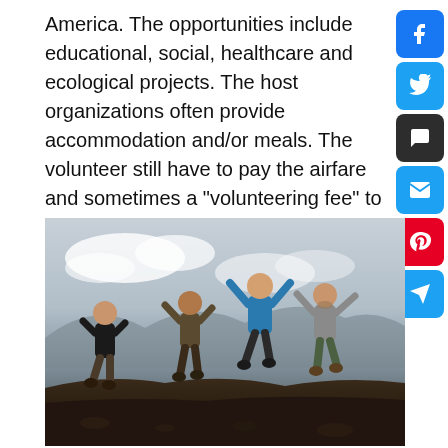America. The opportunities include educational, social, healthcare and ecological projects. The host organizations often provide accommodation and/or meals. The volunteer still have to pay the airfare and sometimes a "volunteering fee" to NGO, but not to the placement agent.
[Figure (photo): Four people jumping joyfully in the air on a rocky volcanic landscape with mountains and cloudy sky in the background]